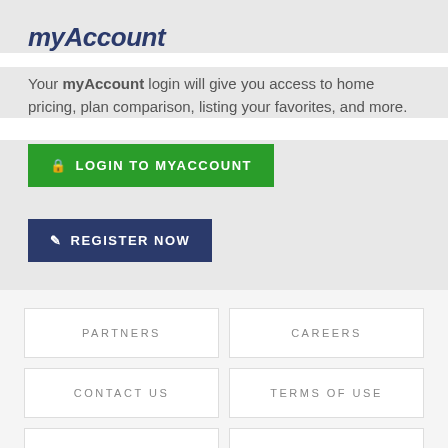myAccount
Your myAccount login will give you access to home pricing, plan comparison, listing your favorites, and more.
LOGIN TO MYACCOUNT
REGISTER NOW
PARTNERS
CAREERS
CONTACT US
TERMS OF USE
PRIVACY
SITEMAP
©2008-2020 Express Homes Inc. dba Impresa Modular All Rights Reserved.